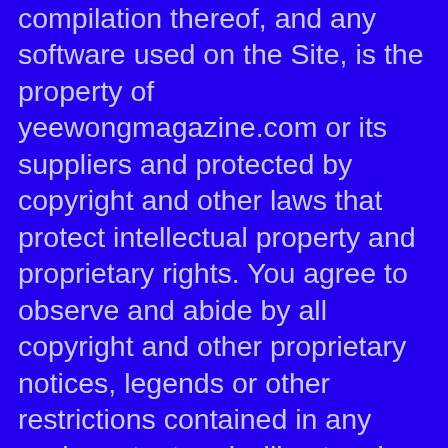compilation thereof, and any software used on the Site, is the property of yeewongmagazine.com or its suppliers and protected by copyright and other laws that protect intellectual property and proprietary rights. You agree to observe and abide by all copyright and other proprietary notices, legends or other restrictions contained in any such content and will not make any changes thereto. You will not modify, publish, transmit, reverse engineer, participate in the transfer or sale, create derivative works, or in any way exploit any of the content, in whole or in part, found on the Site. yeewongmagazine.com content is not for resale. Your use of the Site does not entitle you to make any unauthorized use of any protected content, and in particular you will not delete or alter any proprietary rights or attribution notices in any content. You will use protected content solely for your